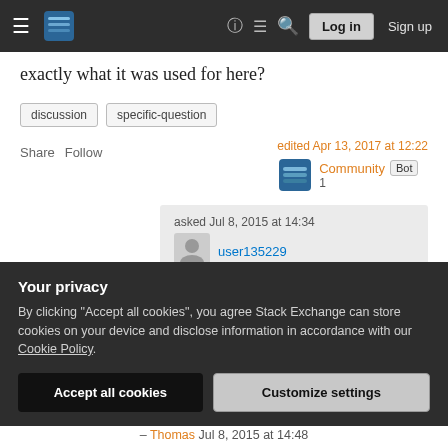Stack Exchange navigation bar with hamburger menu, logo, help, chat, search, Log in, Sign up
exactly what it was used for here?
discussion
specific-question
Share  Follow
edited Apr 13, 2017 at 12:22
Community  Bot  1
asked Jul 8, 2015 at 14:34
user135229
Your privacy
By clicking "Accept all cookies", you agree Stack Exchange can store cookies on your device and disclose information in accordance with our Cookie Policy.
Accept all cookies
Customize settings
– Thomas Jul 8, 2015 at 14:48